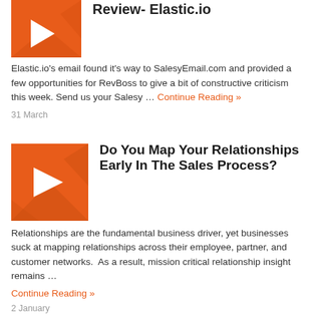[Figure (logo): Orange RevBoss logo — orange square with white arrow/R icon and geometric watermark, partially cropped at top]
Review- Elastic.io
Elastic.io's email found it's way to SalesyEmail.com and provided a few opportunities for RevBoss to give a bit of constructive criticism this week. Send us your Salesy …
Continue Reading »
31 March
[Figure (logo): Orange RevBoss logo — large orange square with white arrow/R icon and geometric watermark]
Do You Map Your Relationships Early In The Sales Process?
Relationships are the fundamental business driver, yet businesses suck at mapping relationships across their employee, partner, and customer networks.  As a result, mission critical relationship insight remains …
Continue Reading »
2 January